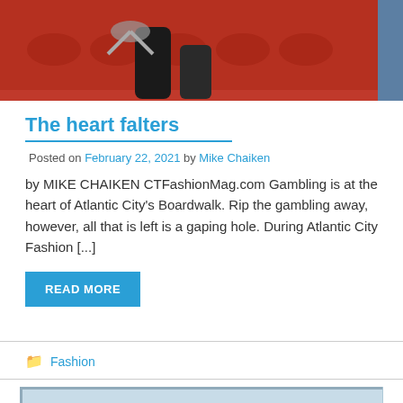[Figure (photo): Cropped photo showing legs/feet of a person kneeling on a red patterned carpet, wearing black boots and metallic/silver accessories]
The heart falters
Posted on February 22, 2021 by Mike Chaiken
by MIKE CHAIKEN CTFashionMag.com Gambling is at the heart of Atlantic City's Boardwalk. Rip the gambling away, however, all that is left is a gaping hole. During Atlantic City Fashion [...]
READ MORE
Fashion
[Figure (photo): Partial bottom image, appears to be a fashion or event photo, cropped at page bottom]